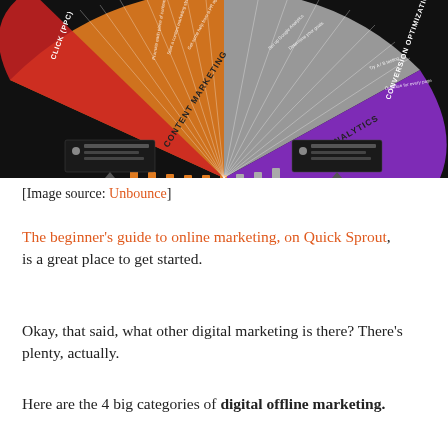[Figure (infographic): A circular marketing wheel/gear diagram on black background showing digital marketing categories including Content Marketing, Analytics, Conversion Optimization, and Pay Per Click (PPC) as colored segments with text spokes radiating outward.]
[Image source: Unbounce]
The beginner's guide to online marketing, on Quick Sprout, is a great place to get started.
Okay, that said, what other digital marketing is there? There’s plenty, actually.
Here are the 4 big categories of digital offline marketing.